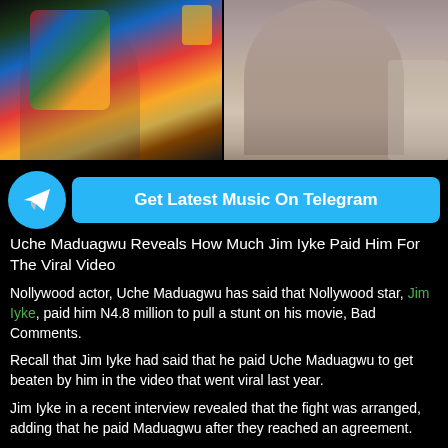[Figure (photo): Two photos side by side: left shows a man in colorful African print outfit, right shows a man in a pink/mauve outfit]
[Figure (infographic): Telegram banner with icon and text: Get Latest Music On Telegram]
Uche Maduagwu Reveals How Much Jim Iyke Paid Him For The Viral Video
Nollywood actor, Uche Maduagwu has said that Nollywood star, Jim Iyke, paid him N4.8 million to pull a stunt on his movie, Bad Comments.
Recall that Jim Iyke had said that he paid Uche Maduagwu to get beaten by him in the video that went viral last year.
Jim Iyke in a recent interview revealed that the fight was arranged, adding that he paid Maduagwu after they reached an agreement.